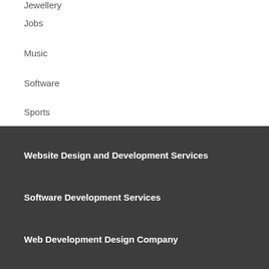Jewellery
Jobs
Music
Software
Sports
Website Design and Development Services
Software Development Services
Web Development Design Company